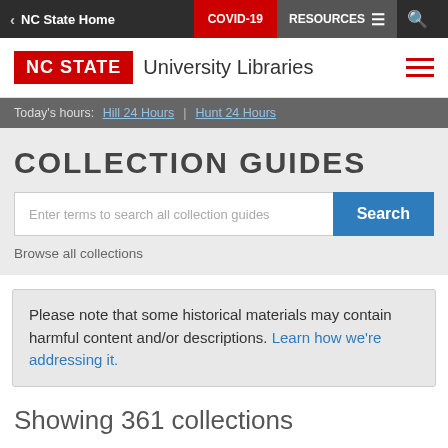NC State Home | COVID-19 | RESOURCES
[Figure (logo): NC STATE University Libraries logo with red NC STATE box and hamburger menu icon]
Today's hours: Hill 24 Hours | Hunt 24 Hours
COLLECTION GUIDES
Enter terms to search all collection guides
Browse all collections
Please note that some historical materials may contain harmful content and/or descriptions. Learn how we're addressing it.
Showing 361 collections